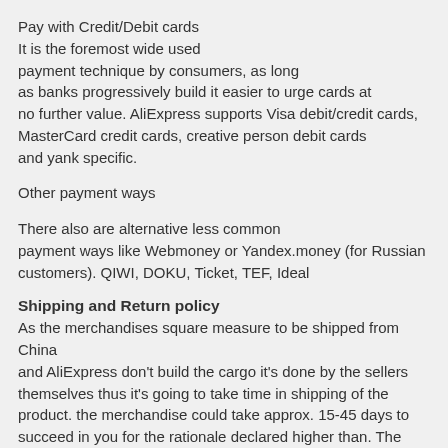Pay with Credit/Debit cards
It is the foremost wide used payment technique by consumers, as long as banks progressively build it easier to urge cards at no further value. AliExpress supports Visa debit/credit cards, MasterCard credit cards, creative person debit cards and yank specific.
Other payment ways
There also are alternative less common payment ways like Webmoney or Yandex.money (for Russian customers). QIWI, DOKU, Ticket, TEF, Ideal
Shipping and Return policy
As the merchandises square measure to be shipped from China and AliExpress don't build the cargo it's done by the sellers themselves thus it's going to take time in shipping of the product. the merchandise could take approx. 15-45 days to succeed in you for the rationale declared higher than. The time of your order is stricken by the factors like order amount, the speed of merchandiser to send US the merchandise, shipping technique, your location, seasonal traffic which can cause late arrival of your product.